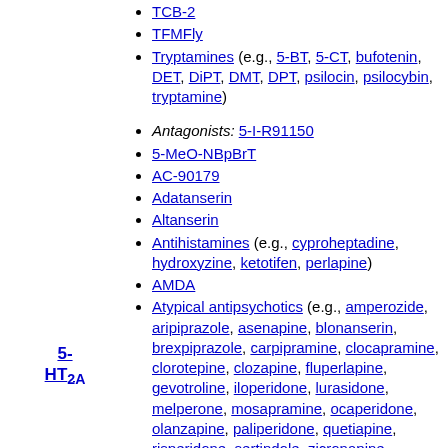TCB-2
TFMFly
Tryptamines (e.g., 5-BT, 5-CT, bufotenin, DET, DiPT, DMT, DPT, psilocin, psilocybin, tryptamine)
Antagonists: 5-I-R91150
5-MeO-NBpBrT
AC-90179
Adatanserin
Altanserin
Antihistamines (e.g., cyproheptadine, hydroxyzine, ketotifen, perlapine)
AMDA
Atypical antipsychotics (e.g., amperozide, aripiprazole, asenapine, blonanserin, brexpiprazole, carpipramine, clocapramine, clorotepine, clozapine, fluperlapine, gevotroline, iloperidone, lurasidone, melperone, mosapramine, ocaperidone, olanzapine, paliperidone, quetiapine, risperidone, sertindole, zicronapine, ziprasidone, zotepine)
Chlorprothixene
Cinanserin
5-HT2A